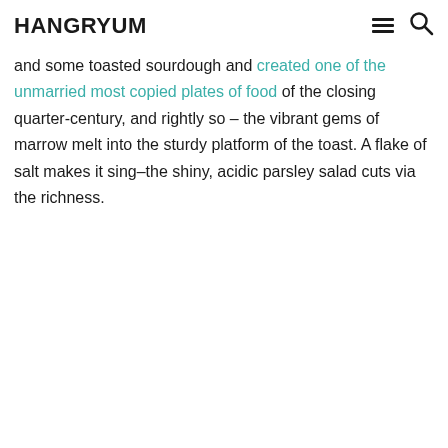HANGRYUM
and some toasted sourdough and created one of the unmarried most copied plates of food of the closing quarter-century, and rightly so – the vibrant gems of marrow melt into the sturdy platform of the toast. A flake of salt makes it sing–the shiny, acidic parsley salad cuts via the richness.